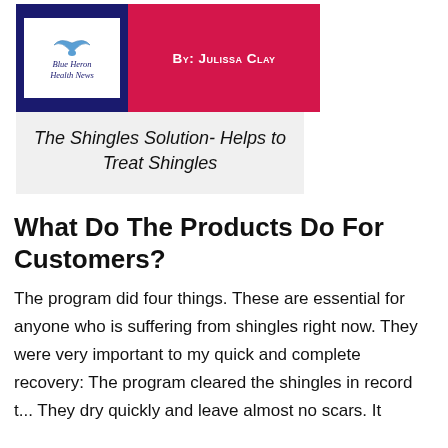[Figure (logo): Blue Heron Health News logo with dark navy background and white inner box containing bird illustration and italic text]
By: Julissa Clay
The Shingles Solution- Helps to Treat Shingles
What Do The Products Do For Customers?
The program did four things. These are essential for anyone who is suffering from shingles right now. They were very important to my quick and complete recovery: The program cleared the shingles in record t... They dry quickly and leave almost no scars. It